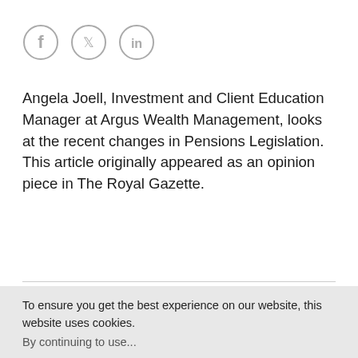[Figure (other): Three social media icons in circles: Facebook (f), Twitter (bird), LinkedIn (in), rendered in light grey outline style]
Angela Joell, Investment and Client Education Manager at Argus Wealth Management, looks at the recent changes in Pensions Legislation. This article originally appeared as an opinion piece in The Royal Gazette.
[Figure (photo): Partial photograph showing the top of a person's head with dark curly hair, cropped at the bottom of the page]
To ensure you get the best experience on our website, this website uses cookies.
By continuing to use...